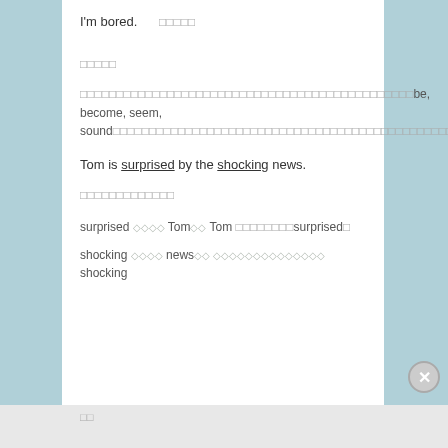I'm bored.  □□□□□
□□□□□
□□□□□□□□□□□□□□□□□□□□□□□□□□□□□□□□□□□□□□□□□□□□□□be, become, seem, sound□□□□□□□□□□□□□□□□□□□□□□□□□□□□□□□□□□□□□□□□□□□□□□□□□□□□□□□□□
Tom is surprised by the shocking news.
□□□□□□□□□□□□□
surprised ◇◇◇◇ Tom◇◇ Tom □□□□□□□□surprised□
shocking ◇◇◇◇ news◇◇ ◇◇◇◇◇◇◇◇◇◇◇◇◇◇ shocking
□□